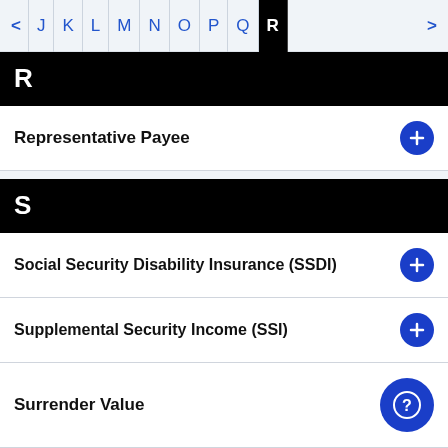< J | K | L | M | N | O | P | Q | R | >
R
Representative Payee
S
Social Security Disability Insurance (SSDI)
Supplemental Security Income (SSI)
Surrender Value